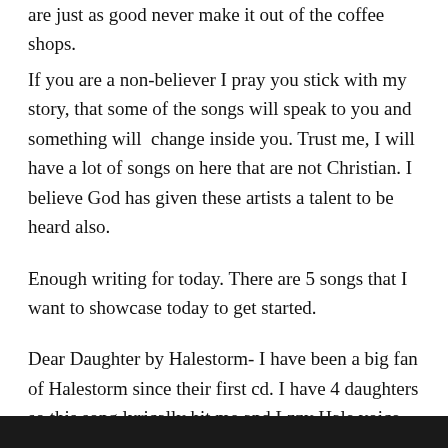are just as good never make it out of the coffee shops.
If you are a non-believer I pray you stick with my story, that some of the songs will speak to you and something will change inside you. Trust me, I will have a lot of songs on here that are not Christian. I believe God has given these artists a talent to be heard also.
Enough writing for today. There are 5 songs that I want to showcase today to get started.
Dear Daughter by Halestorm- I have been a big fan of Halestorm since their first cd. I have 4 daughters so this song lyrically hit me and Lzzy Hale voice, what can I say.
[Figure (other): Black bar at the bottom of the page]